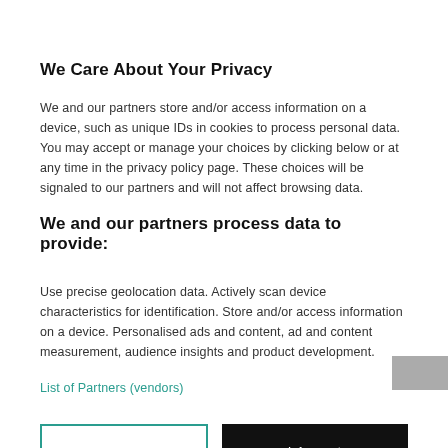We Care About Your Privacy
We and our partners store and/or access information on a device, such as unique IDs in cookies to process personal data. You may accept or manage your choices by clicking below or at any time in the privacy policy page. These choices will be signaled to our partners and will not affect browsing data.
We and our partners process data to provide:
Use precise geolocation data. Actively scan device characteristics for identification. Store and/or access information on a device. Personalised ads and content, ad and content measurement, audience insights and product development.
List of Partners (vendors)
[Figure (other): Two buttons: 'Show Purposes' (outlined, teal) and 'I Accept' (filled, black)]
Reykjavik loves coffee as much as we do, so we passed one coffee bar after the other. You will find the